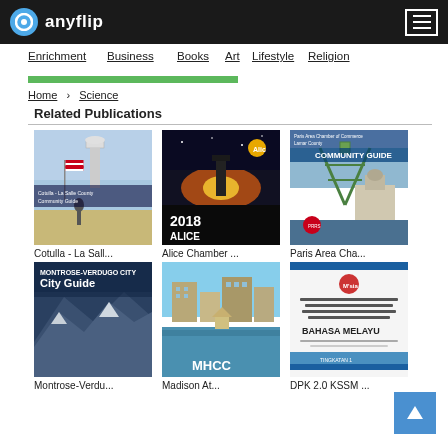anyflip
Enrichment
Business
Books
Art
Lifestyle
Religion
Home > Science
Related Publications
[Figure (screenshot): Cotulla - La Salle County Community Guide cover with water tower and American flag]
Cotulla - La Sall...
[Figure (screenshot): Alice Chamber 2018 ALICE publication cover with sunset and water tower]
Alice Chamber ...
[Figure (screenshot): Paris Area Chamber Community Guide cover with industrial structure and courthouse]
Paris Area Cha...
[Figure (screenshot): Montrose-Verdugo City Guide cover with mountains]
Montrose-Verdu...
[Figure (screenshot): MHCC publication cover with building and lake]
Madison At...
[Figure (screenshot): DPK 2.0 KSSM document cover with Malaysian government logo]
DPK 2.0 KSSM ...